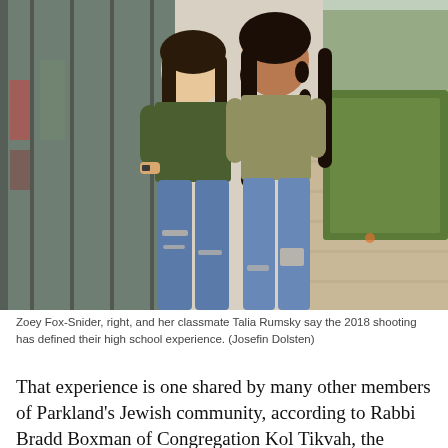[Figure (photo): Two young women standing side by side on a sidewalk outside a building. Both wearing dark olive/green tops and ripped jeans. The woman on the left has straight dark hair, the woman on the right has long curly dark hair. Background shows a glass wall on the left, a beige building wall in the center, and green hedges on the right with a sidewalk.]
Zoey Fox-Snider, right, and her classmate Talia Rumsky say the 2018 shooting has defined their high school experience. (Josefin Dolsten)
That experience is one shared by many other members of Parkland's Jewish community, according to Rabbi Bradd Boxman of Congregation Kol Tikvah, the Reform synagogue where Fox-Snider is a member. Five of the 17